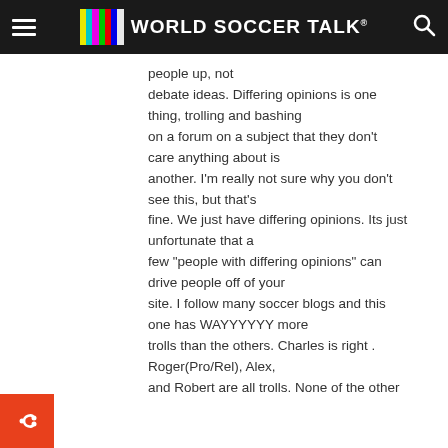World Soccer Talk
people up, not debate ideas. Differing opinions is one thing, trolling and bashing on a forum on a subject that they don't care anything about is another. I'm really not sure why you don't see this, but that's fine. We just have differing opinions. Its just unfortunate that a few “people with differing opinions” can drive people off of your site. I follow many soccer blogs and this one has WAYYYYYY more trolls than the others. Charles is right . Roger(Pro/Rel), Alex, and Robert are all trolls. None of the other